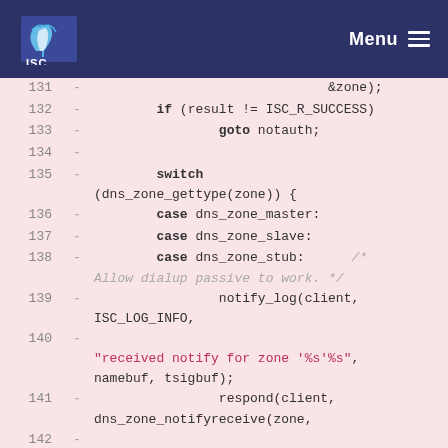ISC Menu
[Figure (screenshot): Code diff view showing lines 131-142 of a DNS notify handler. Lines show C code including if/switch/case statements, notify_log call, respond call, and string literal for received notify zone message. Background is pink/rose indicating removed lines in a diff.]